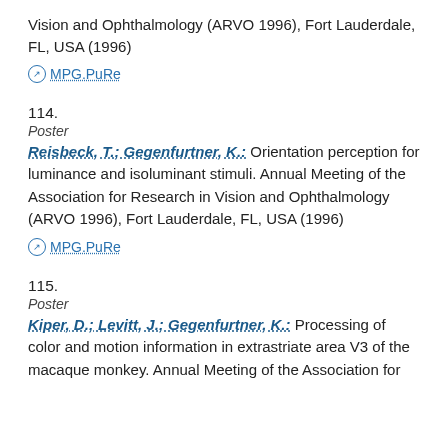Vision and Ophthalmology (ARVO 1996), Fort Lauderdale, FL, USA (1996)
MPG.PuRe
114.
Poster
Reisbeck, T.; Gegenfurtner, K.: Orientation perception for luminance and isoluminant stimuli. Annual Meeting of the Association for Research in Vision and Ophthalmology (ARVO 1996), Fort Lauderdale, FL, USA (1996)
MPG.PuRe
115.
Poster
Kiper, D.; Levitt, J.; Gegenfurtner, K.: Processing of color and motion information in extrastriate area V3 of the macaque monkey. Annual Meeting of the Association for